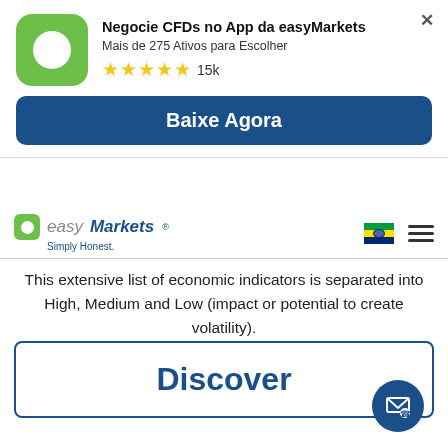[Figure (screenshot): easyMarkets app advertisement banner with green app icon, title 'Negocie CFDs no App da easyMarkets', subtitle 'Mais de 275 Ativos para Escolher', five gold stars with '15k', and a dark blue 'Baixe Agora' download button]
[Figure (logo): easyMarkets logo with green square icon and text 'easyMarkets Simply Honest.' alongside Brazilian flag and hamburger menu]
This extensive list of economic indicators is separated into High, Medium and Low (impact or potential to create volatility).
Discover